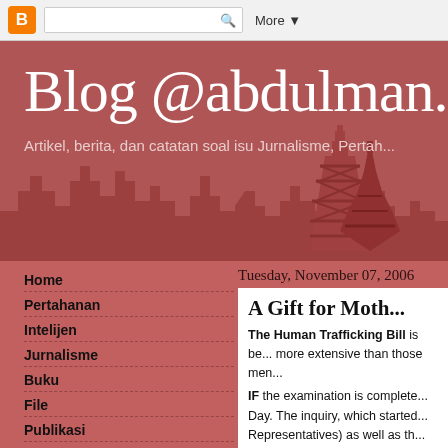Blog @abdulman... | More
Blog @abdulman...
Artikel, berita, dan catatan soal isu Jurnalisme, Pertah...
Tuesday, November 07, 2006
Home
Pertahanan
Intelijen
Jurnalisme
Buku
File
Publikasi
Penulis
A Gift for Moth...
The Human Trafficking Bill is be... more extensive than those men...
IF the examination is complete... Day. The inquiry, which started... Representatives) as well as th... stopped," said Latifah Iskandar,